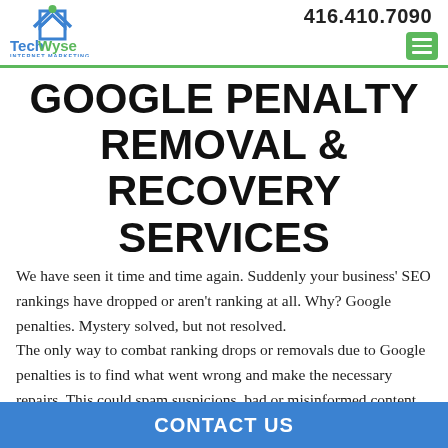[Figure (logo): TechWyse Internet Marketing logo with house icon]
416.410.7090
GOOGLE PENALTY REMOVAL & RECOVERY SERVICES
We have seen it time and time again. Suddenly your business' SEO rankings have dropped or aren't ranking at all. Why? Google penalties. Mystery solved, but not resolved.
The only way to combat ranking drops or removals due to Google penalties is to find what went wrong and make the necessary repairs. This could spam suspicions, bad or misinformed content, or more likely, a bad backlink profile. Google aims to ensure that searchers encounter legitimate and professional websites. If you
CONTACT US